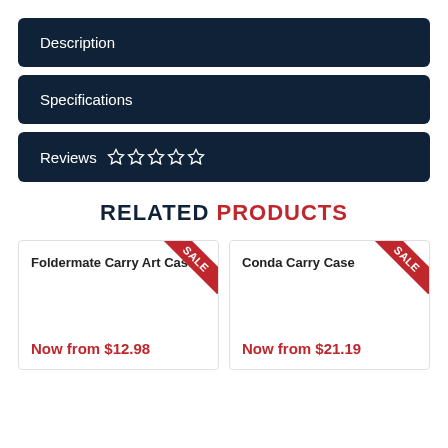Description
Specifications
Reviews ☆ ☆ ☆ ☆ ☆
RELATED PRODUCTS
Foldermate Carry Art Case
Now from $12.98
Conda Carry Case
Now from $21.19